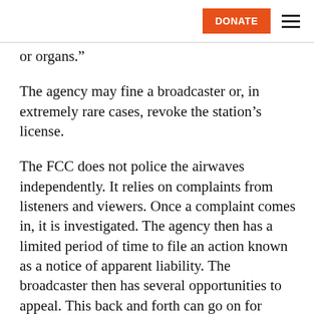DONATE
or organs.”
The agency may fine a broadcaster or, in extremely rare cases, revoke the station’s license.
The FCC does not police the airwaves independently. It relies on complaints from listeners and viewers. Once a complaint comes in, it is investigated. The agency then has a limited period of time to file an action known as a notice of apparent liability. The broadcaster then has several opportunities to appeal. This back and forth can go on for years.